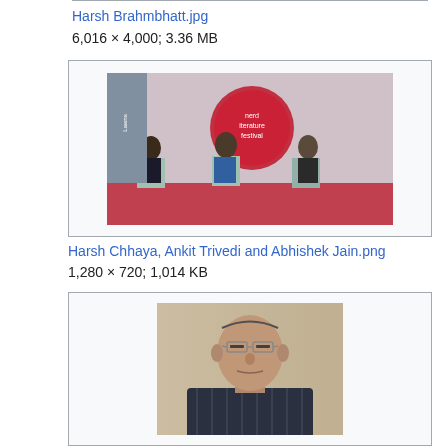Harsh Brahmbhatt.jpg
6,016 × 4,000; 3.36 MB
[Figure (photo): Photo of people at a literature festival panel discussion, seated on stage with a red circular 'Literature Festival' banner in the background]
Harsh Chhaya, Ankit Trivedi and Abhishek Jain.png
1,280 × 720; 1,014 KB
[Figure (photo): Portrait photo of an elderly man with glasses wearing a dark striped shirt]